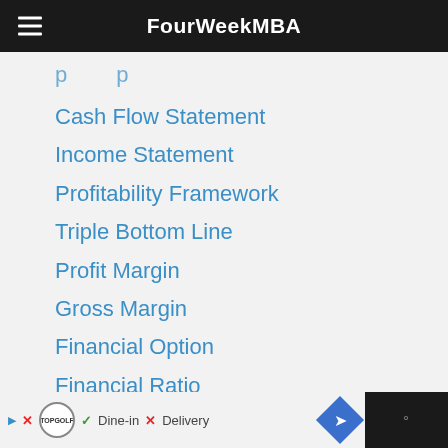FourWeekMBA
Cash Flow Statement
Income Statement
Profitability Framework
Triple Bottom Line
Profit Margin
Gross Margin
Financial Option
Financial Ratio
Dine-in  Delivery